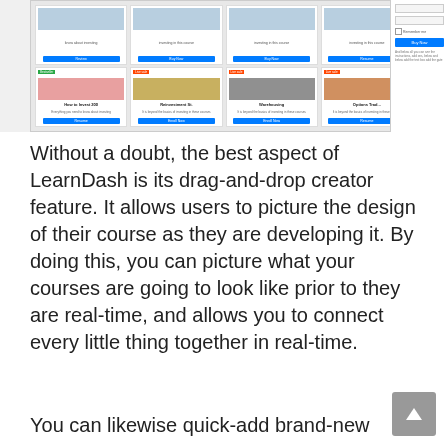[Figure (screenshot): Screenshot of a LearnDash course listing interface showing course cards with images, badges, titles, descriptions, and Buy Now/Enroll Now/Resume buttons. A side panel shows a login form with Remember me checkbox and Buy Now button.]
Without a doubt, the best aspect of LearnDash is its drag-and-drop creator feature. It allows users to picture the design of their course as they are developing it. By doing this, you can picture what your courses are going to look like prior to they are real-time, and allows you to connect every little thing together in real-time.
You can likewise quick-add brand-new